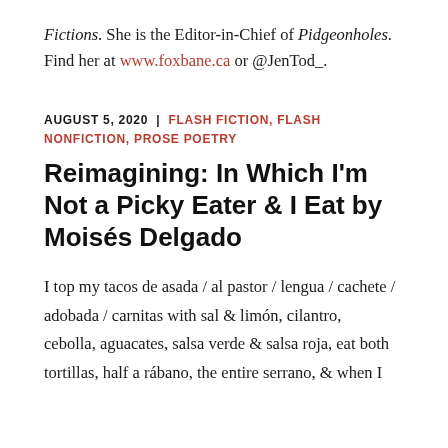Fictions. She is the Editor-in-Chief of Pidgeonholes. Find her at www.foxbane.ca or @JenTod_.
AUGUST 5, 2020  |  FLASH FICTION, FLASH NONFICTION, PROSE POETRY
Reimagining: In Which I'm Not a Picky Eater & I Eat by Moisés Delgado
I top my tacos de asada / al pastor / lengua / cachete / adobada / carnitas with sal & limón, cilantro, cebolla, aguacates, salsa verde & salsa roja, eat both tortillas, half a rábano, the entire serrano, & when I